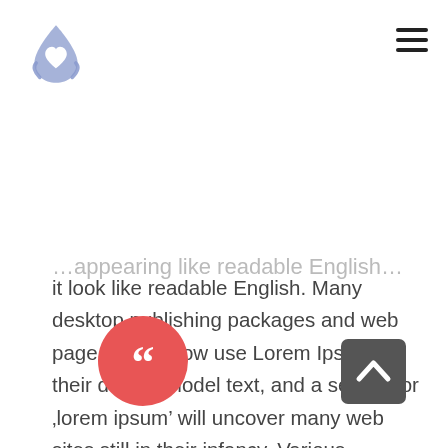[Figure (logo): Blue droplet/heart logo icon in the top left area]
[Figure (other): Hamburger menu icon (three horizontal lines) in top right corner]
it look like readable English. Many desktop publishing packages and web page editors now use Lorem Ipsum as their default model text, and a search for ‘lorem ipsum’ will uncover many web sites still in their infancy. Various versions have evolved over the years, sometimes by accident, sometimes on purpose (injected humour and the like)
[Figure (illustration): Red circle with double opening quotation mark (66) icon]
[Figure (other): Dark grey rounded rectangle back-to-top button with upward chevron arrow]